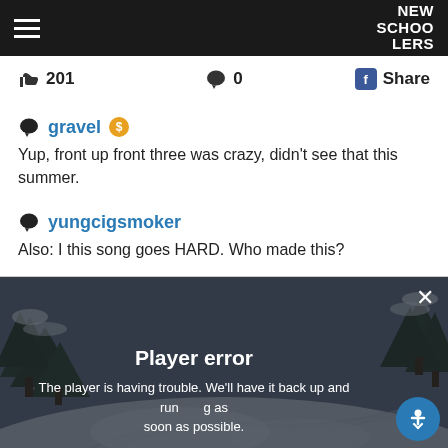NEW SCHOOLERS
201   0   Share
gravel
Yup, front up front three was crazy, didn't see that this summer.
yungcigsmoker
Also: I this song goes HARD. Who made this?
[Figure (screenshot): Video player showing a snowy mountain scene with trees. Overlay shows 'Player error' and message 'The player is having trouble. We'll have it back up and running as soon as possible.' with a close button (X) in the top right and an accessibility button (blue circle with person icon) in the bottom right.]